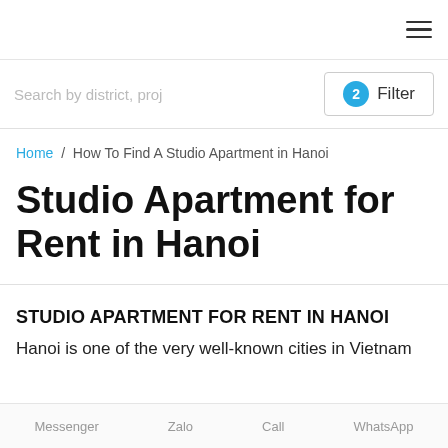≡ (hamburger menu icon)
Search by district, proj
2 Filter
Home / How To Find A Studio Apartment in Hanoi
Studio Apartment for Rent in Hanoi
STUDIO APARTMENT FOR RENT IN HANOI
Hanoi is one of the very well-known cities in Vietnam
Messenger  Zalo  Call  WhatsApp